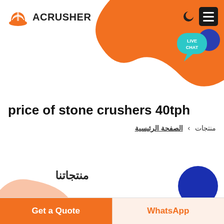[Figure (logo): Acrusher logo with orange hard-hat icon and company name text]
price of stone crushers 40tph
منتجات  >  الصفحة الرئيسية
منتجاتنا
Get a Quote
WhatsApp